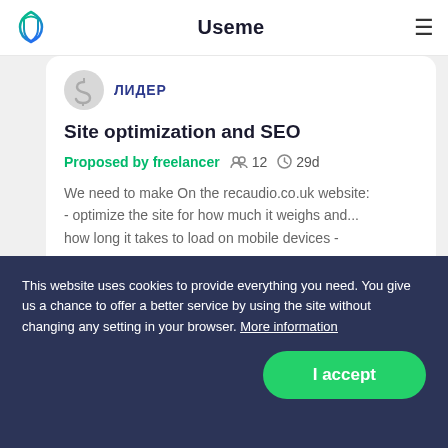Useme
ЛИДЕР
Site optimization and SEO
Proposed by freelancer   12   29d
We need to make On the recaudio.co.uk website:
- optimize the site for how much it weighs and...
how long it takes to load on mobile devices -
This website uses cookies to provide everything you need. You give us a chance to offer a better service by using the site without changing any setting in your browser. More information
I accept